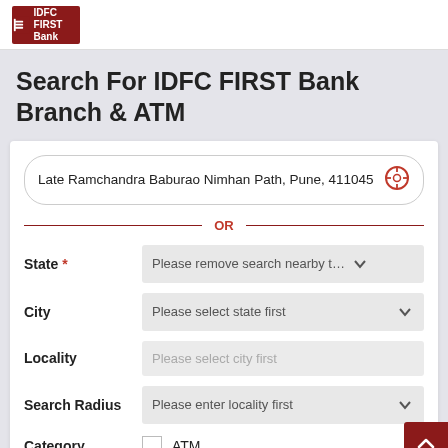IDFC FIRST Bank
Search For IDFC FIRST Bank Branch & ATM
Late Ramchandra Baburao Nimhan Path, Pune, 411045
OR
State * — Please remove search nearby text fi...
City — Please select state first
Locality — Please select city first
Search Radius — Please enter locality first
Category  ATM